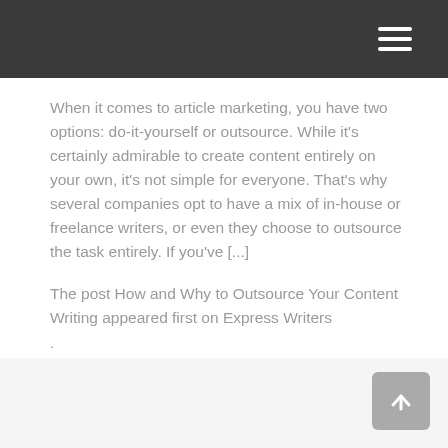When it comes to article marketing, you have two options: do-it-yourself or outsource. While it's certainly admirable to create content entirely on your own, it's not simple for everyone. That's why several companies opt to have a mix of in-house or freelance writers, or even they choose to outsource the task entirely. If you've [...]
The post How and Why to Outsource Your Content Writing appeared first on Express Writers .
More Details
1